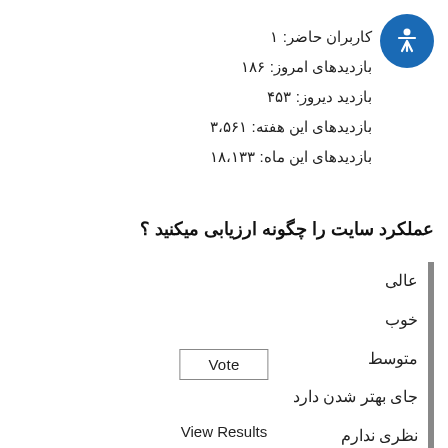کاربران حاضر: ۱
بازدیدهای امروز: ۱۸۶
بازدید دیروز: ۴۵۳
بازدیدهای این هفته: ۳،۵۶۱
بازدیدهای این ماه: ۱۸،۱۳۳
عملکرد سایت را چگونه ارزیابی میکنید ؟
عالی
خوب
متوسط
جای بهتر شدن دارد
نظری ندارم
Vote
View Results